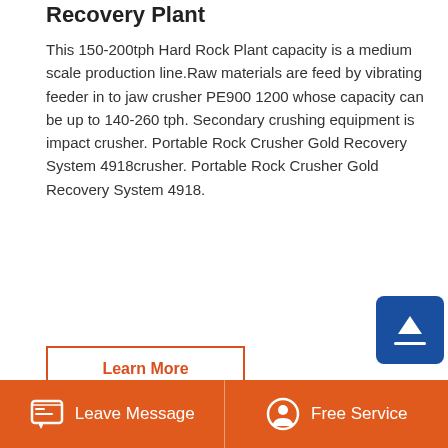Recovery Plant
This 150-200tph Hard Rock Plant capacity is a medium scale production line.Raw materials are feed by vibrating feeder in to jaw crusher PE900 1200 whose capacity can be up to 140-260 tph. Secondary crushing equipment is impact crusher. Portable Rock Crusher Gold Recovery System 4918crusher. Portable Rock Crusher Gold Recovery System 4918.
Learn More
[Figure (photo): Industrial rock crushing machinery - an impact crusher in a yellow/cream color with a red-framed structure visible in the background, set inside a factory or plant facility.]
Leave Message   Free Service